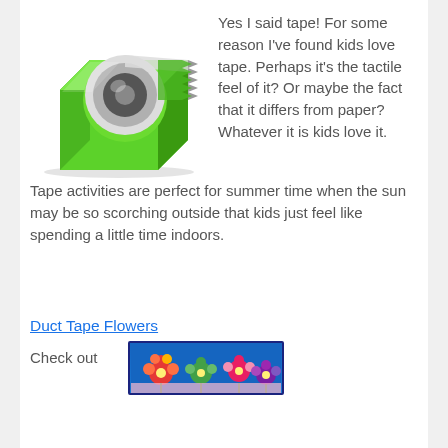[Figure (illustration): Green tape dispenser with silver tape roll on top]
Yes I said tape! For some reason I've found kids love tape. Perhaps it's the tactile feel of it? Or maybe the fact that it differs from paper? Whatever it is kids love it. Tape activities are perfect for summer time when the sun may be so scorching outside that kids just feel like spending a little time indoors.
Duct Tape Flowers
Check out
[Figure (photo): Colorful duct tape flowers on blue background]